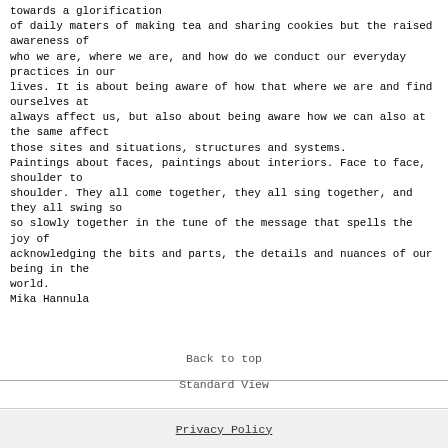towards a glorification
of daily maters of making tea and sharing cookies but the raised awareness of
who we are, where we are, and how do we conduct our everyday practices in our
lives. It is about being aware of how that where we are and find ourselves at
always affect us, but also about being aware how we can also at the same affect
those sites and situations, structures and systems.
Paintings about faces, paintings about interiors. Face to face, shoulder to
shoulder. They all come together, they all sing together, and they all swing so
so slowly together in the tune of the message that spells the joy of
acknowledging the bits and parts, the details and nuances of our being in the
world.
Mika Hannula
Back to top
Standard View
Privacy Policy